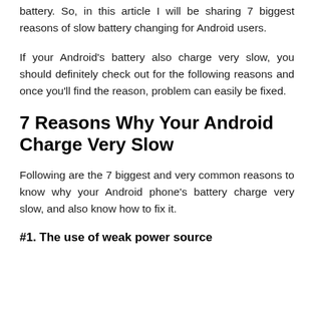battery. So, in this article I will be sharing 7 biggest reasons of slow battery changing for Android users.
If your Android's battery also charge very slow, you should definitely check out for the following reasons and once you'll find the reason, problem can easily be fixed.
7 Reasons Why Your Android Charge Very Slow
Following are the 7 biggest and very common reasons to know why your Android phone's battery charge very slow, and also know how to fix it.
#1. The use of weak power source